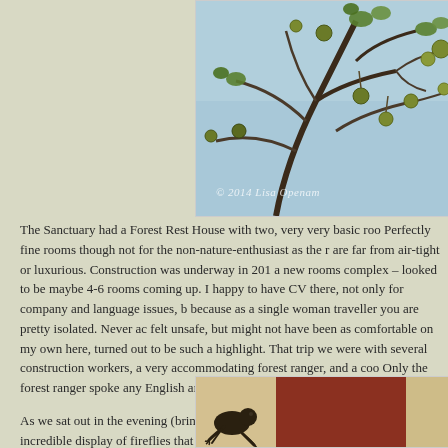[Figure (photo): Close-up photograph of tree branches with small round fruits or seed pods, taken from below looking up at a light blue sky. Watermark reads: © 2014 Lisa Openam]
The Sanctuary had a Forest Rest House with two, very very basic roo Perfectly fine rooms though not for the non-nature-enthusiast as the r are far from air-tight or luxurious. Construction was underway in 201 a new rooms complex – looked to be maybe 4-6 rooms coming up. I happy to have CV there, not only for company and language issues, b because as a single woman traveller you are pretty isolated. Never ac felt unsafe, but might not have been as comfortable on my own here, turned out to be such a highlight. That trip we were with several construction workers, a very accommodating forest ranger, and a coo Only the forest ranger spoke any English and it was minimal.
As we sat out in the evening (bring your mosquito repellant!) we wer treated to an incredible display of fireflies that filled the clearing, dri out of the trees and amongst the buildings.
[Figure (photo): Partial view of what appears to be a botanical illustration or nature journal page, showing a dark silhouette of a frog or lizard on a tan/cream background, with a terracotta/rust-red rectangular section.]